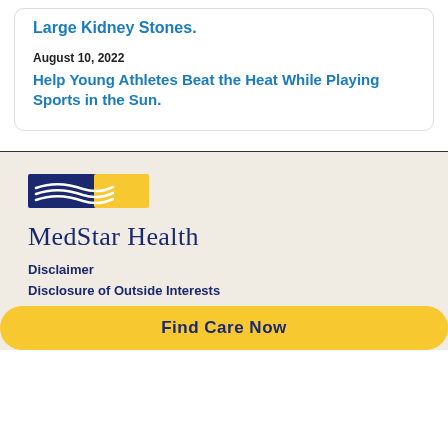Large Kidney Stones.
August 10, 2022
Help Young Athletes Beat the Heat While Playing Sports in the Sun.
[Figure (logo): MedStar Health logo with navy and yellow horizontal stripes graphic and text 'MedStar Health']
Disclaimer
Disclosure of Outside Interests
Find Care Now